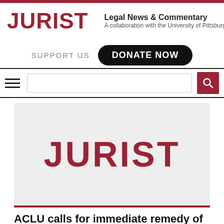JURIST | Legal News & Commentary — A collaboration with the University of Pittsburgh
SUPPORT US  DONATE NOW
[Figure (logo): JURIST logo displayed large in dark red on light gray background]
ACLU calls for immediate remedy of